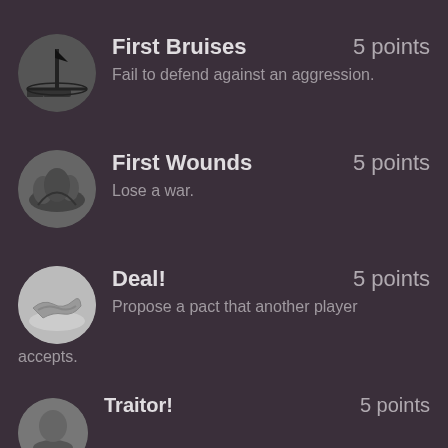First Bruises — 5 points — Fail to defend against an aggression.
First Wounds — 5 points — Lose a war.
Deal! — 5 points — Propose a pact that another player accepts.
Traitor! — 5 points